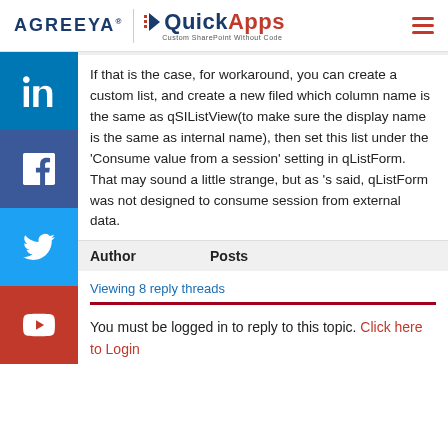AGREEYA® | QuickApps Custom SharePoint Without Code
If that is the case, for workaround, you can create a custom list, and create a new filed which column name is the same as qSIListView(to make sure the display name is the same as internal name), then set this list under the 'Consume value from a session' setting in qListForm. That may sound a little strange, but as 's said, qListForm was not designed to consume session from external data.
| Author | Posts |
| --- | --- |
Viewing 8 reply threads
You must be logged in to reply to this topic. Click here to Login